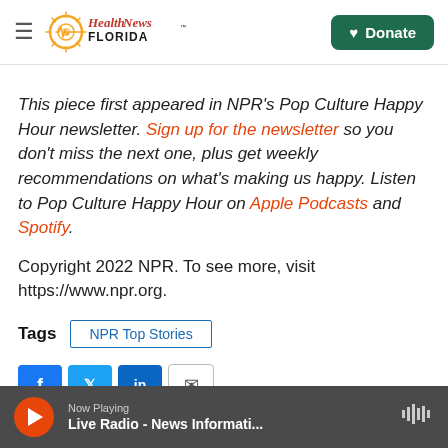Health News Florida | Donate
This piece first appeared in NPR's Pop Culture Happy Hour newsletter. Sign up for the newsletter so you don't miss the next one, plus get weekly recommendations on what's making us happy. Listen to Pop Culture Happy Hour on Apple Podcasts and Spotify.
Copyright 2022 NPR. To see more, visit https://www.npr.org.
Tags  NPR Top Stories
[Figure (other): Social share buttons: Facebook, Twitter, LinkedIn, Email]
Now Playing  Live Radio - News Informati...